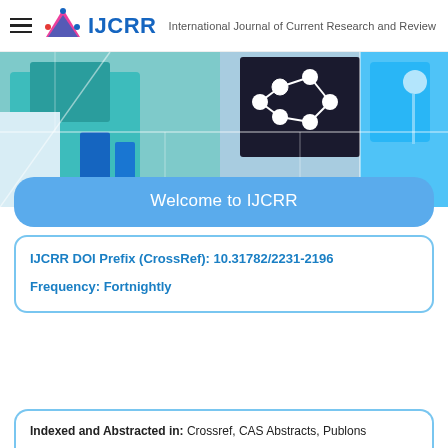IJCRR — International Journal of Current Research and Review
[Figure (photo): Hero banner showing a mosaic of medical/scientific laboratory images including researchers in lab coats, molecular structures, and medical equipment]
Welcome to IJCRR
IJCRR DOI Prefix (CrossRef): 10.31782/2231-2196
Frequency: Fortnightly
Indexed and Abstracted in: Crossref, CAS Abstracts, Publons